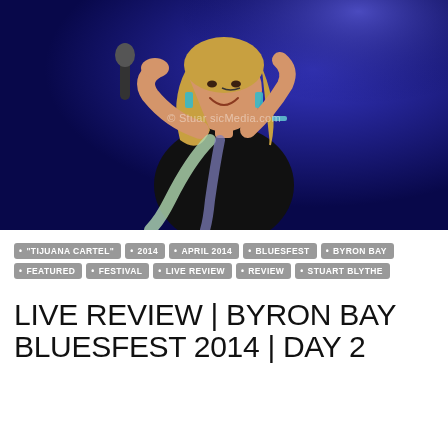[Figure (photo): A female singer with blonde hair performing on stage, smiling and holding a microphone, wearing a black dress with cutouts, against a deep blue background. Watermark reads © StuarticMedia.com]
"TIJUANA CARTEL"
2014
APRIL 2014
BLUESFEST
BYRON BAY
FEATURED
FESTIVAL
LIVE REVIEW
REVIEW
STUART BLYTHE
LIVE REVIEW | BYRON BAY BLUESFEST 2014 | DAY 2